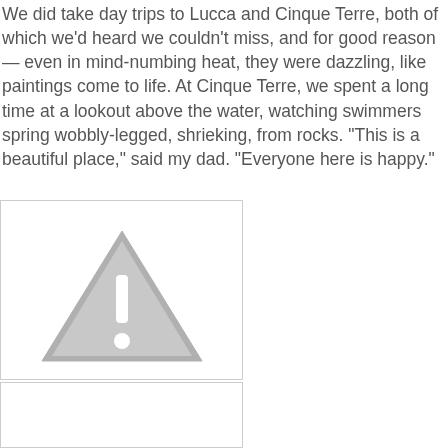We did take day trips to Lucca and Cinque Terre, both of which we'd heard we couldn't miss, and for good reason — even in mind-numbing heat, they were dazzling, like paintings come to life. At Cinque Terre, we spent a long time at a lookout above the water, watching swimmers spring wobbly-legged, shrieking, from rocks. "This is a beautiful place," said my dad. "Everyone here is happy."
[Figure (other): Placeholder image box with a warning/caution triangle icon (grey triangle with exclamation mark)]
[Figure (other): Placeholder image box (empty, partial view at bottom of page)]